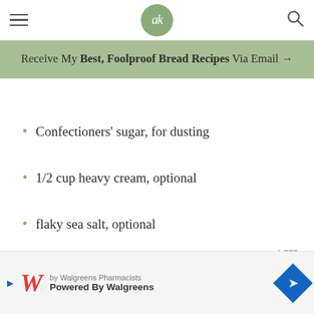ak logo, hamburger menu, search icon
Receive My Best, Foolproof Bread Recipes Via Email →
Confectioners' sugar, for dusting
1/2 cup heavy cream, optional
flaky sea salt, optional
fresh berries such as raspberries
1,775
[Figure (other): Heart/favorite button (circle with heart icon) and green search button (circle with magnifying glass icon)]
[Figure (other): Walgreens advertisement banner: by Walgreens Pharmacists, W logo, Powered By Walgreens, blue direction sign badge]